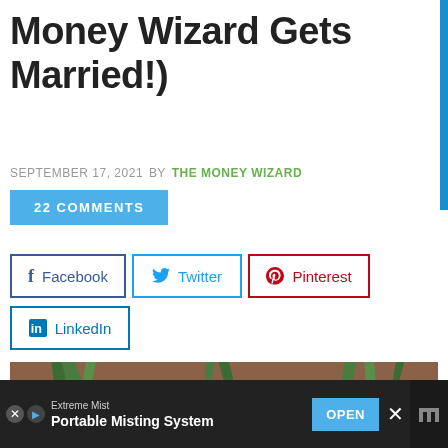Money Wizard Gets Married!)
SEPTEMBER 17, 2021 BY THE MONEY WIZARD
22 COMMENTS
Facebook
Twitter
Pinterest
LinkedIn
[Figure (photo): Close-up photo of colorful flowers including white, pink, and red blooms with green leaves against a warm brown background.]
Extreme Mist Portable Misting System OPEN